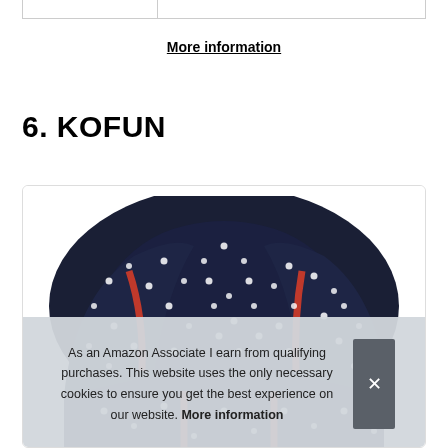|  |  |
More information
6. KOFUN
[Figure (photo): Product photo showing a dark navy blue fabric with white polka dots and a red stripe detail, partially visible inside a white-bordered box.]
As an Amazon Associate I earn from qualifying purchases. This website uses the only necessary cookies to ensure you get the best experience on our website. More information